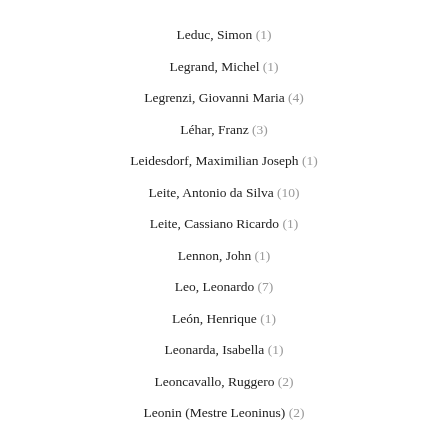Leduc, Simon (1)
Legrand, Michel (1)
Legrenzi, Giovanni Maria (4)
Léhar, Franz (3)
Leidesdorf, Maximilian Joseph (1)
Leite, Antonio da Silva (10)
Leite, Cassiano Ricardo (1)
Lennon, John (1)
Leo, Leonardo (7)
León, Henrique (1)
Leonarda, Isabella (1)
Leoncavallo, Ruggero (2)
Leonin (Mestre Leoninus) (2)